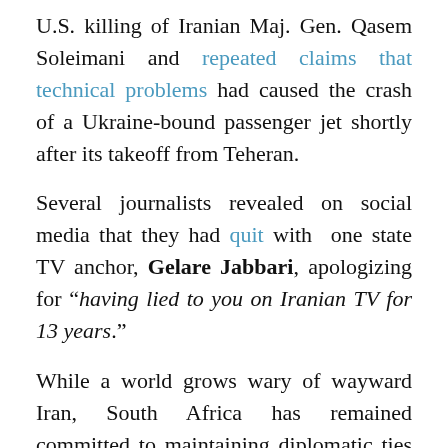U.S. killing of Iranian Maj. Gen. Qasem Soleimani and repeated claims that technical problems had caused the crash of a Ukraine-bound passenger jet shortly after its takeoff from Teheran.
Several journalists revealed on social media that they had quit with one state TV anchor, Gelare Jabbari, apologizing for "having lied to you on Iranian TV for 13 years."
While a world grows wary of wayward Iran, South Africa has remained committed to maintaining diplomatic ties happily engaging in joint business-tech forums, scientific cooperation, and expanding tourism.
The South African media is replete with photographs of Iranian and South African foreign ministers from on the...